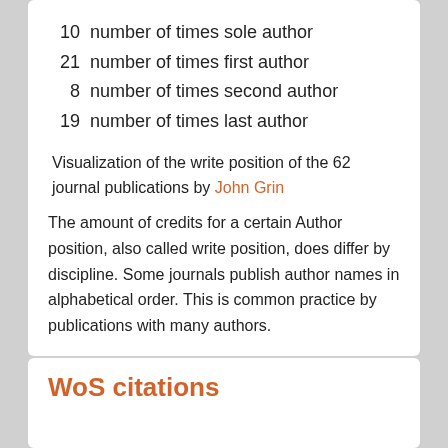10  number of times sole author
21  number of times first author
8   number of times second author
19  number of times last author
Visualization of the write position of the 62 journal publications by John Grin
The amount of credits for a certain Author position, also called write position, does differ by discipline. Some journals publish author names in alphabetical order. This is common practice by publications with many authors.
WoS citations